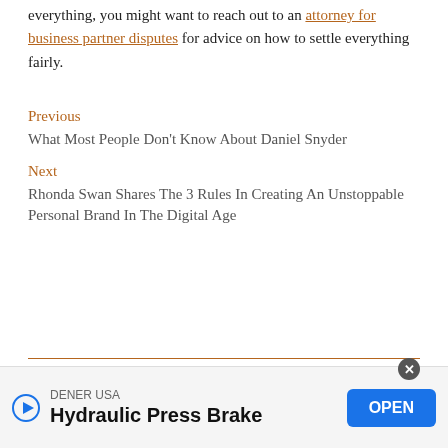everything, you might want to reach out to an attorney for business partner disputes for advice on how to settle everything fairly.
Previous
What Most People Don't Know About Daniel Snyder
Next
Rhonda Swan Shares The 3 Rules In Creating An Unstoppable Personal Brand In The Digital Age
CATEGORIES
DENER USA
Hydraulic Press Brake
OPEN